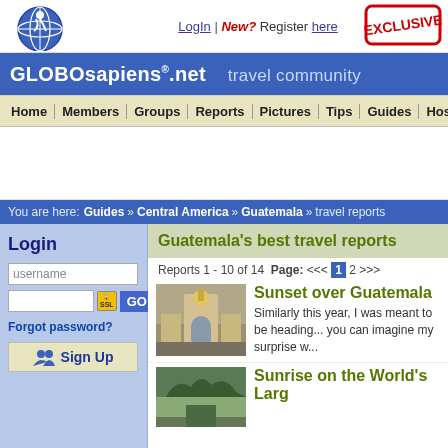[Figure (logo): GLOBOsapiens.net globe logo with figure and navigation icons]
LogIn | New? Register here
[Figure (other): EXCLUSIVE red stamp/badge in top right corner]
GLOBOsapiens.net travel community
Home | Members | Groups | Reports | Pictures | Tips | Guides | Hostels
You are here: Guides » Central America » Guatemala » travel reports
Guatemala's best travel reports
Login
username
Forgot password?
Sign Up
Reports 1 - 10 of 14  Page: ««  1  2  »»
Sunset over Guatemala
Similarly this year, I was meant to be heading... you can imagine my surprise w...
Sunrise on the World's Larg